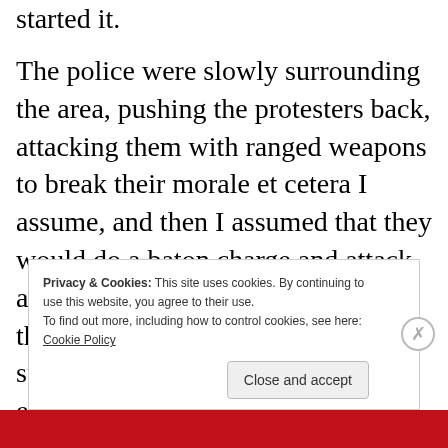started it.
The police were slowly surrounding the area, pushing the protesters back, attacking them with ranged weapons to break their morale et cetera I assume, and then I assumed that they would do a baton charge and attack and then arrest the protesters once they had them completely surrounded and broken down enough from the rubber bullets and tear gas et cetera.
Privacy & Cookies: This site uses cookies. By continuing to use this website, you agree to their use. To find out more, including how to control cookies, see here: Cookie Policy